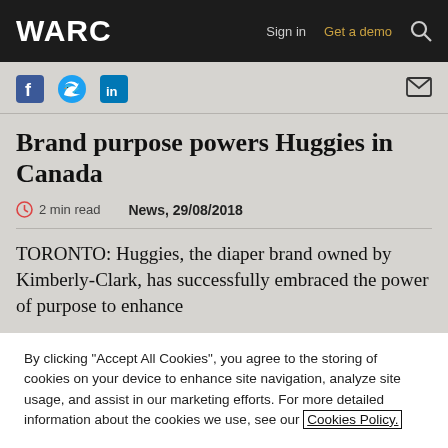WARC | Sign in | Get a demo
Brand purpose powers Huggies in Canada
2 min read   News, 29/08/2018
TORONTO: Huggies, the diaper brand owned by Kimberly-Clark, has successfully embraced the power of purpose to enhance
By clicking "Accept All Cookies", you agree to the storing of cookies on your device to enhance site navigation, analyze site usage, and assist in our marketing efforts. For more detailed information about the cookies we use, see our Cookies Policy.